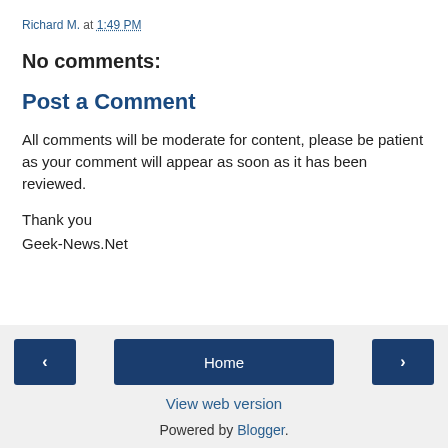Richard M. at 1:49 PM
No comments:
Post a Comment
All comments will be moderate for content, please be patient as your comment will appear as soon as it has been reviewed.
Thank you
Geek-News.Net
< Home > View web version Powered by Blogger.